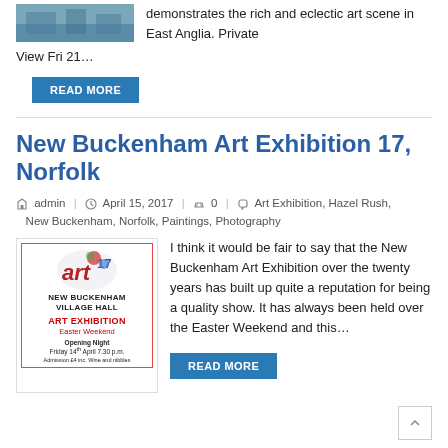[Figure (photo): Thumbnail image showing an art scene]
demonstrates the rich and eclectic art scene in East Anglia. Private View Fri 21…
READ MORE
New Buckenham Art Exhibition 17, Norfolk
admin | April 15, 2017 | 0 | Art Exhibition, Hazel Rush, New Buckenham, Norfolk, Paintings, Photography
[Figure (photo): Art Exhibition poster for New Buckenham Village Hall, Easter Weekend. Opening Night Friday 14th April 7.30 p.m.]
I think it would be fair to say that the New Buckenham Art Exhibition over the twenty years has built up quite a reputation for being a quality show. It has always been held over the Easter Weekend and this…
READ MORE